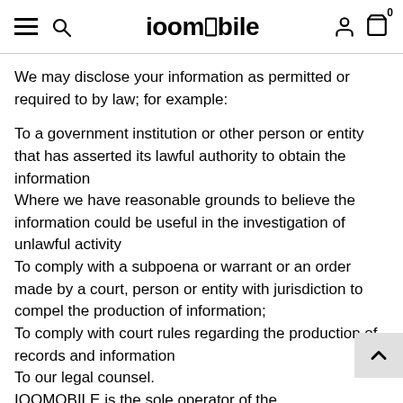ioomobile
We may disclose your information as permitted or required to by law; for example:
To a government institution or other person or entity that has asserted its lawful authority to obtain the information
Where we have reasonable grounds to believe the information could be useful in the investigation of unlawful activity
To comply with a subpoena or warrant or an order made by a court, person or entity with jurisdiction to compel the production of information;
To comply with court rules regarding the production of records and information
To our legal counsel.
IOOMOBILE is the sole operator of the